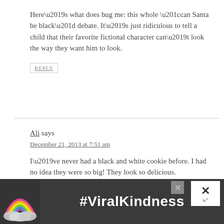Here’s what does bug me: this whole “can Santa be black” debate. It’s just ridiculous to tell a child that their favorite fictional character can’t look the way they want him to look.
REPLY
Ali says
December 21, 2013 at 7:51 am
I’ve never had a black and white cookie before. I had no idea they were so big! They look so delicious.
Love your list. As much as I try to be friendly,
[Figure (infographic): Advertisement banner with rainbow illustration and '#ViralKindness' text on dark background, with close buttons]